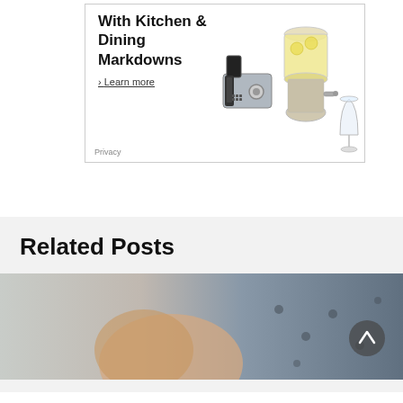[Figure (screenshot): Amazon advertisement banner for Kitchen & Dining Markdowns featuring a toaster, drink dispenser, and wine glass. Includes 'Learn more' link and 'Privacy' label.]
Related Posts
[Figure (photo): Partial photo of a person holding or near a grey dotted fabric/pillow, blurred background. A circular scroll-up button is overlaid on the right side.]